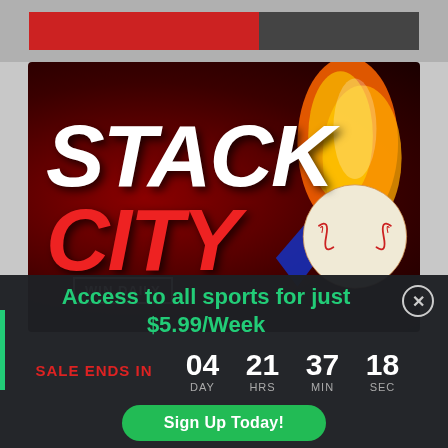[Figure (screenshot): Top browser/app navigation bar with gray background and a red banner with dark image at right]
[Figure (illustration): Stack City promotional banner with bold white text STACK, red text CITY, flaming baseball on dark red background, WIN DAILY badge]
Access to all sports for just $5.99/Week
SALE ENDS IN  04 DAY  21 HRS  37 MIN  18 SEC
Sign Up Today!